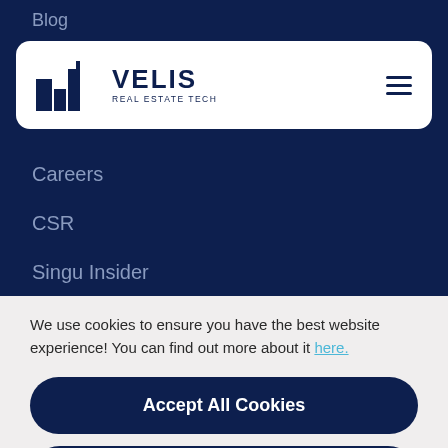Blog
[Figure (logo): Velis Real Estate Tech logo with building icon and hamburger menu icon]
Careers
CSR
Singu Insider
We use cookies to ensure you have the best website experience! You can find out more about it here.
Accept All Cookies
See my options